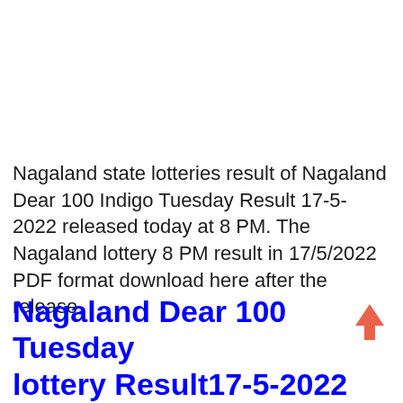Nagaland state lotteries result of Nagaland Dear 100 Indigo Tuesday Result 17-5-2022 released today at 8 PM. The Nagaland lottery 8 PM result in 17/5/2022 PDF format download here after the release.
Nagaland Dear 100 Tuesday lottery Result17-5-2022